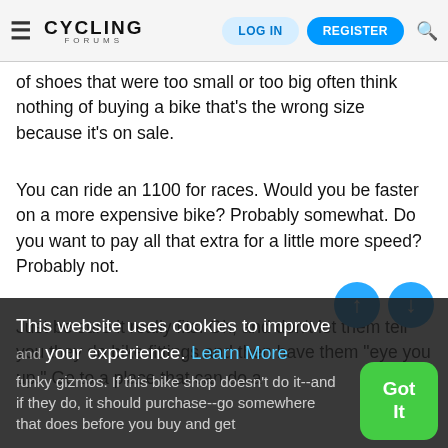CYCLING FORUMS — LOG IN | REGISTER
of shoes that were too small or too big often think nothing of buying a bike that's the wrong size because it's on sale.
You can ride an 1100 for races. Would you be faster on a more expensive bike? Probably somewhat. Do you want to pay all that extra for a little more speed? Probably not.
Just be sure it really fits. Oh, and don't let them tell you they do bike fittings and then have them "eye you up." Go to a place that can do a "fit," where they actually measure you using funky gizmos. If this bike shop doesn't do it--and if they do, it should purchase--go somewhere that does before you buy and get
This website uses cookies to improve your experience. Learn More